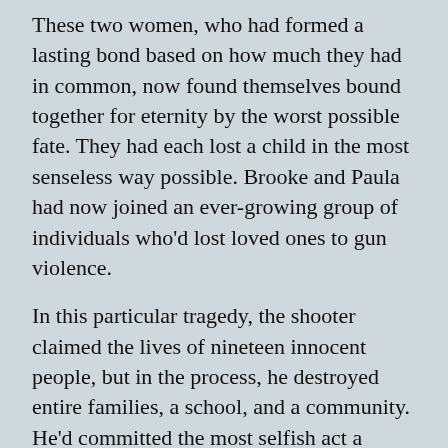These two women, who had formed a lasting bond based on how much they had in common, now found themselves bound together for eternity by the worst possible fate. They had each lost a child in the most senseless way possible. Brooke and Paula had now joined an ever-growing group of individuals who'd lost loved ones to gun violence.
In this particular tragedy, the shooter claimed the lives of nineteen innocent people, but in the process, he destroyed entire families, a school, and a community. He'd committed the most selfish act a human being is capable of, and the resulting agony he caused could not be measured. It had only required three minutes in the present to eliminate the future of his victims. For his efforts, his name would become a footnote in history for the ugliest of reasons. He